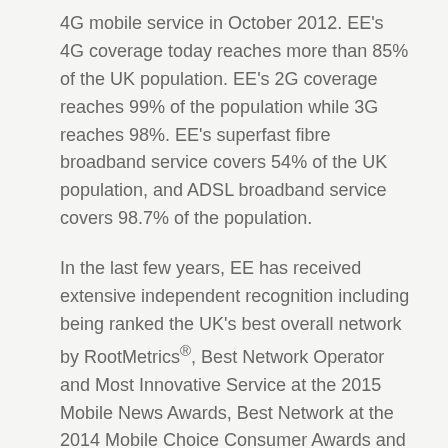4G mobile service in October 2012. EE's 4G coverage today reaches more than 85% of the UK population. EE's 2G coverage reaches 99% of the population while 3G reaches 98%. EE's superfast fibre broadband service covers 54% of the UK population, and ADSL broadband service covers 98.7% of the population.
In the last few years, EE has received extensive independent recognition including being ranked the UK's best overall network by RootMetrics®, Best Network Operator and Most Innovative Service at the 2015 Mobile News Awards, Best Network at the 2014 Mobile Choice Consumer Awards and What Mobile Awards 2013, Fastest Network at the 2013 uSwitch Awards, Network Innovation at the 2013 Recombu awards and Best Network for Business at the 2013 Mobile Industry awards.
Following on